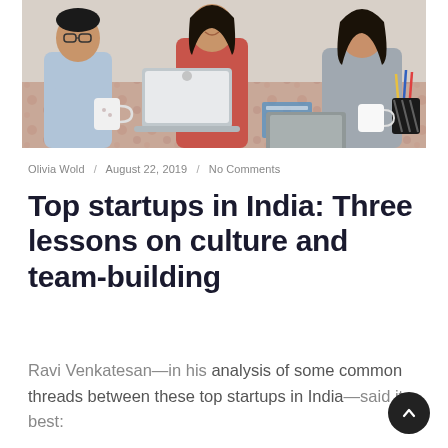[Figure (photo): Three people sitting at a table in a meeting or work session. A man on the left wearing glasses and a light blue shirt, a woman in the middle in a red/coral top smiling, and a woman on the right in a grey top. There is a laptop, notebooks, pens, a mug, and office supplies on the decorated table.]
Olivia Wold / August 22, 2019 / No Comments
Top startups in India: Three lessons on culture and team-building
Ravi Venkatesan—in his analysis of some common threads between these top startups in India—said it best: